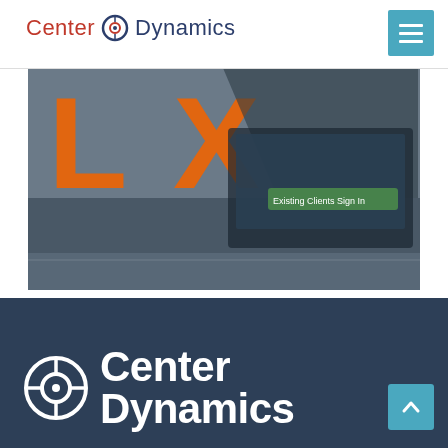Center Dynamics
[Figure (screenshot): Screenshot of a website with orange LX letters and a laptop screen showing 'Existing Clients Sign In' button]
→
[Figure (logo): Center Dynamics logo in white on dark blue background with crosshair/target icon]